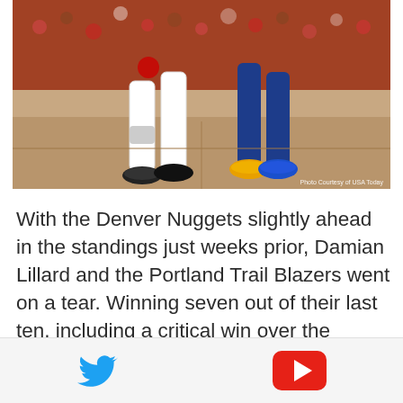[Figure (photo): Basketball players' legs in action — one in Portland Trail Blazers white uniform, one in Golden State Warriors blue/yellow uniform — running on a hardwood court. Photo credit courtesy of USA Today.]
With the Denver Nuggets slightly ahead in the standings just weeks prior, Damian Lillard and the Portland Trail Blazers went on a tear. Winning seven out of their last ten, including a critical win over the Nuggets to leap frog them into the final playoff spot, the Blazers go into their first-round matchup with plenty of momentum.
One of the few things that didn't
[Figure (infographic): Bottom bar with Twitter bird icon (blue) on the left and YouTube play button icon (red) on the right.]